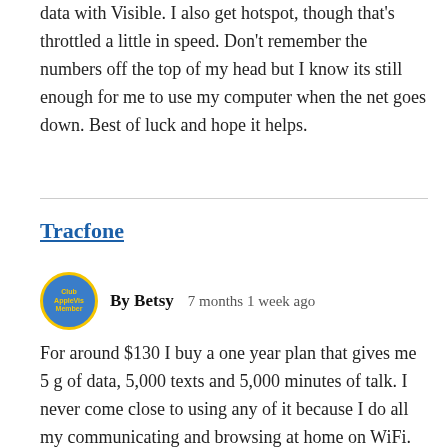data with Visible. I also get hotspot, though that's throttled a little in speed. Don't remember the numbers off the top of my head but I know its still enough for me to use my computer when the net goes down. Best of luck and hope it helps.
Tracfone
By Betsy    7 months 1 week ago
For around $130 I buy a one year plan that gives me 5 g of data, 5,000 texts and 5,000 minutes of talk. I never come close to using any of it because I do all my communicating and browsing at home on WiFi. My iPhone is an old